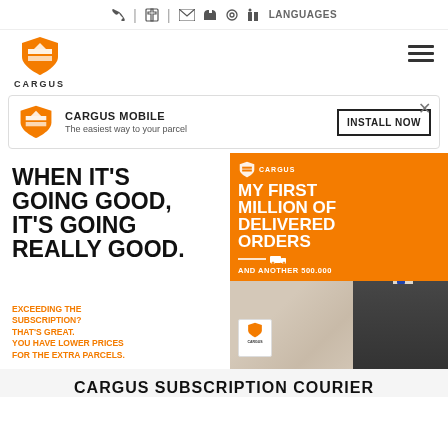Phone | Fax | Email | Facebook | Instagram | LinkedIn | LANGUAGES
[Figure (logo): Cargus orange shield logo with text CARGUS below]
[Figure (illustration): Hamburger menu icon (three horizontal lines)]
[Figure (infographic): Cargus Mobile app banner with orange shield logo, text CARGUS MOBILE / The easiest way to your parcel, INSTALL NOW button, and X close button]
[Figure (photo): Promotional banner split into left (white) and right (orange+photo) halves. Left: WHEN IT'S GOING GOOD, IT'S GOING REALLY GOOD. in bold black. Below in orange: EXCEEDING THE SUBSCRIPTION? THAT'S GREAT. YOU HAVE LOWER PRICES FOR THE EXTRA PARCELS. Right top orange: MY FIRST MILLION OF DELIVERED ORDERS AND ANOTHER 500.000. Right bottom: photo of man in suit with Cargus branded items on desk.]
CARGUS SUBSCRIPTION COURIER